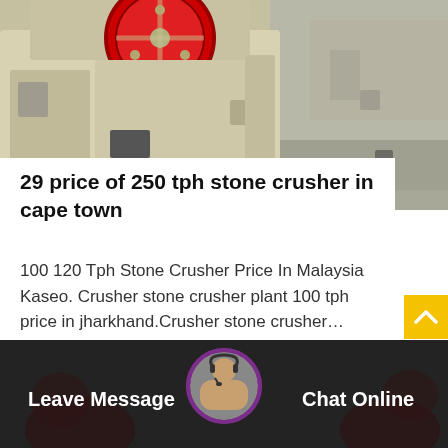[Figure (photo): Industrial stone crusher machine — heavy cream/beige colored metal body with a large red flywheel at the top, photographed in a workshop/yard setting]
29 price of 250 tph stone crusher in cape town
100 120 Tph Stone Crusher Price In Malaysia Kaseo. Crusher stone crusher plant 100 tph price in jharkhand.Crusher stone crusher…
Release Time：Dec_30
[Figure (photo): Chat support bar at the bottom — dark semi-transparent overlay with worker/operator photo in the center, 'Leave Message' text on the left, 'Chat Online' text on the right, and a yellow back-to-top button on the right edge]